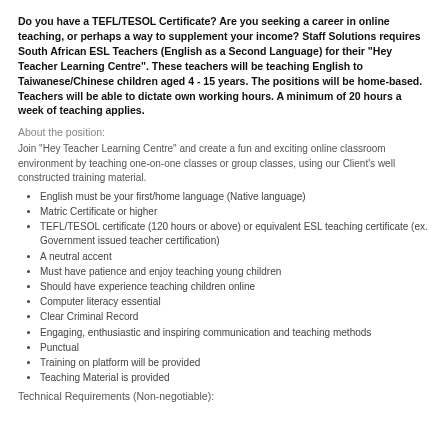Do you have a TEFL/TESOL Certificate?  Are you seeking  a career in online teaching, or perhaps a way to supplement your income?  Staff Solutions requires South African ESL Teachers (English as a Second Language) for their "Hey Teacher Learning Centre".  These teachers will be teaching English to Taiwanese/Chinese children aged 4 - 15 years.  The positions will be home-based.  Teachers will be able to dictate own working hours.  A minimum of 20 hours a week of teaching applies.
About the position:
Join "Hey Teacher Learning Centre" and create a fun and exciting online classroom environment by teaching one-on-one classes or group classes, using our Client's well constructed training material.
English must be your first/home language (Native language)
Matric Certificate or higher
TEFL/TESOL certificate (120 hours or above) or equivalent ESL teaching certificate (ex. Government issued teacher certification)
A neutral accent
Must have patience and enjoy teaching young children
Should have experience teaching children online
Computer literacy essential
Clear Criminal Record
Engaging, enthusiastic and inspiring communication and teaching methods
Punctual
Training on platform will be provided
Teaching Material is provided
Technical Requirements (Non-negotiable):